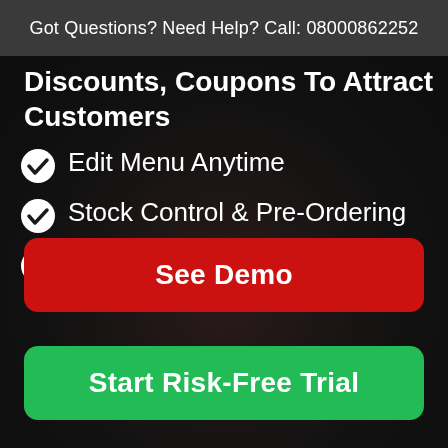Got Questions? Need Help? Call: 08000862252
Discounts, Coupons To Attract Customers
Edit Menu Anytime
Stock Control & Pre-Ordering
Use any payment gateway to save on transaction fees.
See Demo
Start Risk-Free Trial